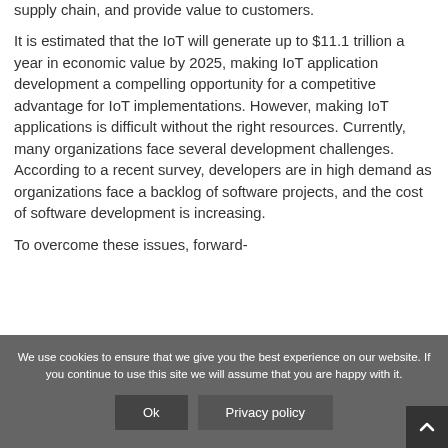supply chain, and provide value to customers.

It is estimated that the IoT will generate up to $11.1 trillion a year in economic value by 2025, making IoT application development a compelling opportunity for a competitive advantage for IoT implementations. However, making IoT applications is difficult without the right resources. Currently, many organizations face several development challenges. According to a recent survey, developers are in high demand as organizations face a backlog of software projects, and the cost of software development is increasing.

To overcome these issues, forward-
We use cookies to ensure that we give you the best experience on our website. If you continue to use this site we will assume that you are happy with it.